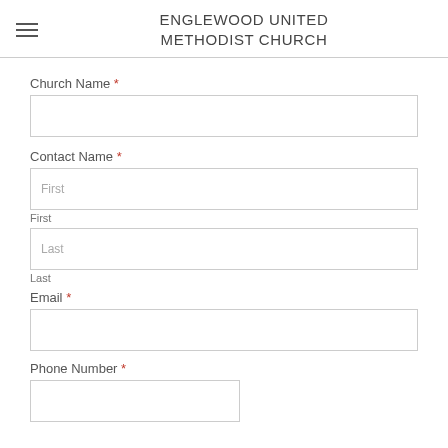ENGLEWOOD UNITED METHODIST CHURCH
Church Name *
Contact Name *
First
First
Last
Last
Email *
Phone Number *